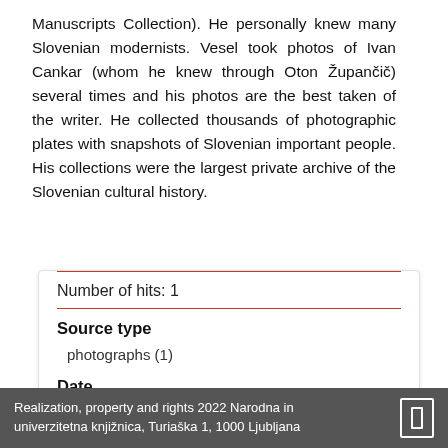Manuscripts Collection). He personally knew many Slovenian modernists. Vesel took photos of Ivan Cankar (whom he knew through Oton Župančič) several times and his photos are the best taken of the writer. He collected thousands of photographic plates with snapshots of Slovenian important people. His collections were the largest private archive of the Slovenian cultural history.
Number of hits: 1
Source type
photographs (1)
Date
194? (1)
Location
Realization, property and rights 2022 Narodna in univerzitetna knjižnica, Turiaška 1, 1000 Ljubljana